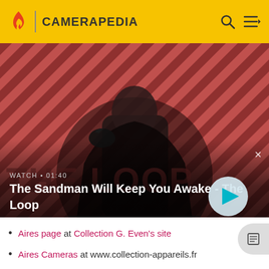CAMERAPEDIA
[Figure (screenshot): Video thumbnail showing a dark-robed figure with a raven on shoulder against a red and black diagonal stripe background. Shows 'THE LOOP' branding. Watch label: WATCH • 01:40. Video title: The Sandman Will Keep You Awake - The Loop. Play button in bottom right.]
Aires page at Collection G. Even's site
Aires Cameras at www.collection-appareils.fr
Aires Cameras Timeline at www.collection-appareils.com